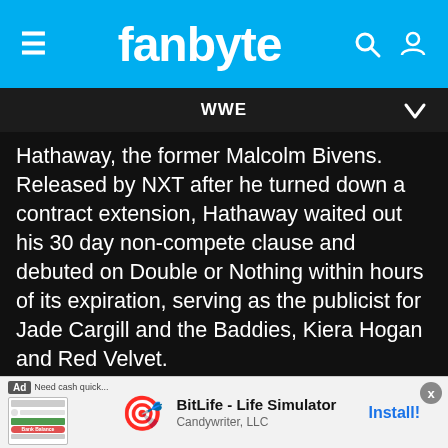fanbyte
WWE
Hathaway, the former Malcolm Bivens. Released by NXT after he turned down a contract extension, Hathaway waited out his 30 day non-compete clause and debuted on Double or Nothing within hours of its expiration, serving as the publicist for Jade Cargill and the Baddies, Kiera Hogan and Red Velvet.
Prior to this, Hathaway, as Malcolm Bivens, was the mouthpiece of Diamond Mine, a
[Figure (screenshot): Advertisement banner for BitLife - Life Simulator by Candywriter, LLC with Install button]